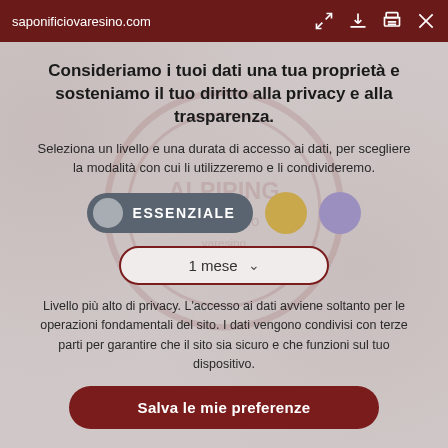saponificiovaresino.com
Consideriamo i tuoi dati una tua proprietà e sosteniamo il tuo diritto alla privacy e alla trasparenza.
Seleziona un livello e una durata di accesso ai dati, per scegliere la modalità con cui li utilizzeremo e li condivideremo.
[Figure (screenshot): Toggle button showing ESSENZIALE option selected in dark grey pill, with gold and purple circle options beside it]
[Figure (screenshot): Dropdown selector showing '1 mese' with chevron, bordered in dark red]
Livello più alto di privacy. L'accesso ai dati avviene soltanto per le operazioni fondamentali del sito. I dati vengono condivisi con terze parti per garantire che il sito sia sicuro e che funzioni sul tuo dispositivo.
Salva le mie preferenze